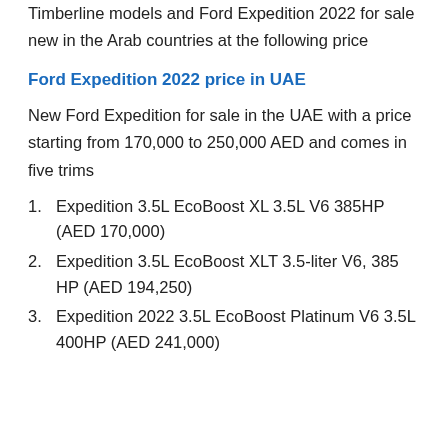Timberline models and Ford Expedition 2022 for sale new in the Arab countries at the following price
Ford Expedition 2022 price in UAE
New Ford Expedition for sale in the UAE with a price starting from 170,000 to 250,000 AED and comes in five trims
Expedition 3.5L EcoBoost XL 3.5L V6 385HP (AED 170,000)
Expedition 3.5L EcoBoost XLT 3.5-liter V6, 385 HP (AED 194,250)
Expedition 2022 3.5L EcoBoost Platinum V6 3.5L 400HP (AED 241,000)